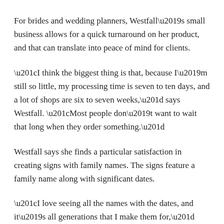For brides and wedding planners, Westfall’s small business allows for a quick turnaround on her product, and that can translate into peace of mind for clients.
“I think the biggest thing is that, because I’m still so little, my processing time is seven to ten days, and a lot of shops are six to seven weeks,” says Westfall. “Most people don’t want to wait that long when they order something.”
Westfall says she finds a particular satisfaction in creating signs with family names. The signs feature a family name along with significant dates.
“I love seeing all the names with the dates, and it’s all generations that I make them for,” says Westfall. “They’re my favorite because I feel like I’m involved in a special moment for them. And then they hang it in their house and see it every day. It feels special.”